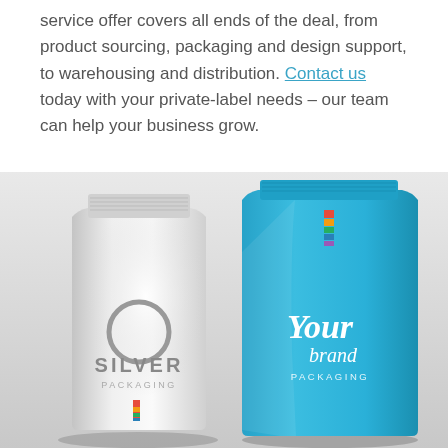service offer covers all ends of the deal, from product sourcing, packaging and design support, to warehousing and distribution. Contact us today with your private-label needs – our team can help your business grow.
[Figure (illustration): Two product packaging bags side by side. Left: a silver/white foil stand-up bag with a circular logo reading 'SILVER PACKAGING' with a multicolor barcode strip at the bottom. Right: a cyan/blue foil stand-up bag with 'Your brand PACKAGING' printed in white text and a multicolor strip near the top.]